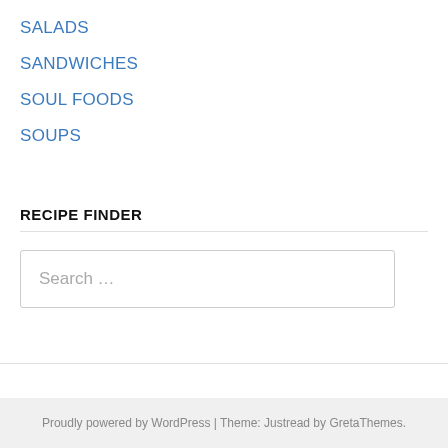SALADS
SANDWICHES
SOUL FOODS
SOUPS
RECIPE FINDER
Search …
Proudly powered by WordPress | Theme: Justread by GretaThemes.